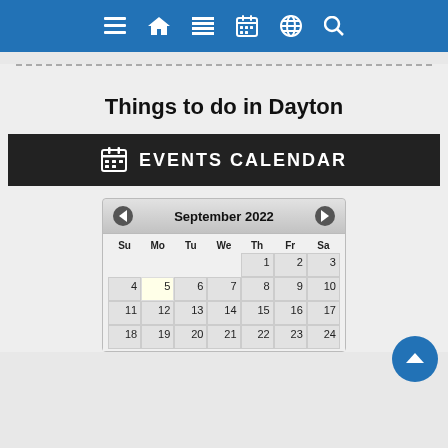Navigation bar with icons: menu, home, list, calendar, globe, search
Things to do in Dayton
EVENTS CALENDAR
[Figure (other): September 2022 calendar widget showing days 1-24, with day 5 highlighted as today]
[Figure (other): Back to top button (blue circle with up chevron)]